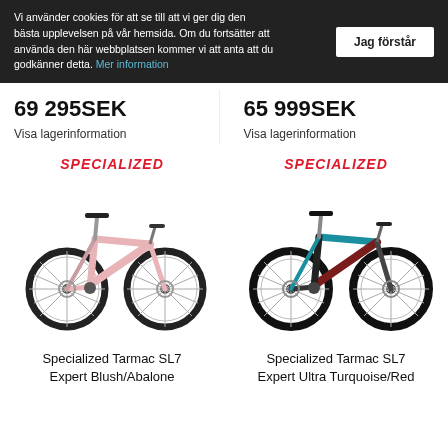Vi använder cookies för att se till att vi ger dig den bästa upplevelsen på vår hemsida. Om du fortsätter att använda den här webbplatsen kommer vi att anta att du godkänner detta. Mer information
Jag förstår
69 295SEK
Visa lagerinformation
65 999SEK
Visa lagerinformation
[Figure (logo): Specialized logo in red italic text]
[Figure (photo): Specialized Tarmac SL7 Expert Blush/Abalone road bike, pink/blush color]
Specialized Tarmac SL7 Expert Blush/Abalone
[Figure (logo): Specialized logo in red italic text]
[Figure (photo): Specialized Tarmac SL7 Expert Ultra Turquoise/Red road bike]
Specialized Tarmac SL7 Expert Ultra Turquoise/Red